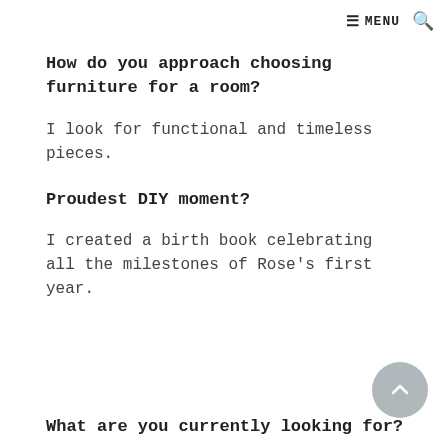☰ MENU 🔍
How do you approach choosing furniture for a room?
I look for functional and timeless pieces.
Proudest DIY moment?
I created a birth book celebrating all the milestones of Rose's first year.
What are you currently looking for?